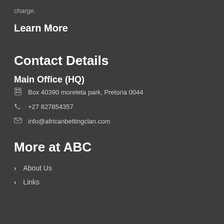charge.
Learn More
Contact Details
Main Office (HQ)
Box 40390 moreleta park, Pretoria 0044
+27 827854357
info@africanbettingclan.com
More at ABC
About Us
Links